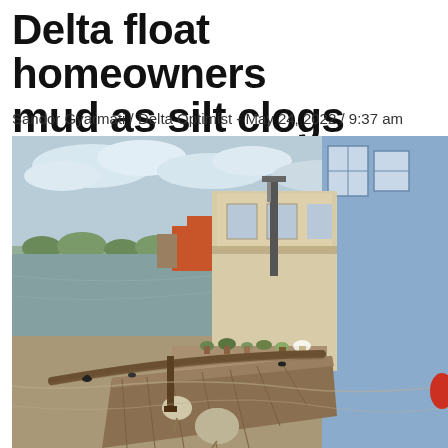Delta float homeowners mud as silt clogs Fraser
Sandor Gyarmati / Delta Optimist - May 24, 2022 / 9:37 am
[Figure (photo): Photograph of a float home community on the Fraser River. In the foreground is a wooden dock/walkway with rope and buoys. To the right are two-storey float homes with balconies and potted plants. The water is a muddy brown colour. In the background, more float homes and boats are visible along the river, with trees and a cloudy sky on the horizon.]